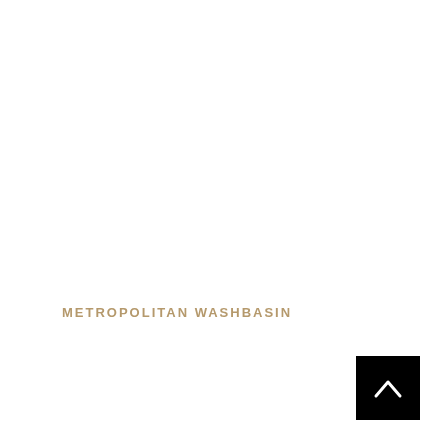METROPOLITAN WASHBASIN
[Figure (other): Black square button with white upward chevron arrow in bottom-right corner]